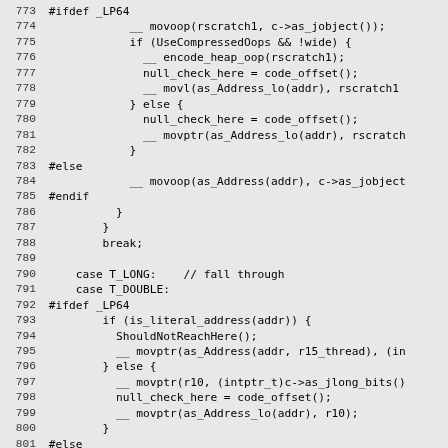Source code listing lines 773-802, C++ code with preprocessor directives for LP64 architecture handling of object and long/double types.